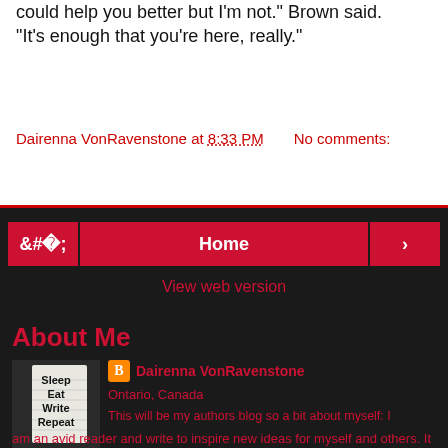could help you better but I'm not." Brown said. "It's enough that you're here, really."
Dairenna VonRavenstone at 8:33 PM    No comments:
‹  Home  ›
View web version
About Me
[Figure (photo): Blog profile photo with text: Sleep Eat Write Repeat]
Dairenna VonRavenstone
Ontario, Canada
This will be my authors blog so a bit about myself: I am an avid reader and write to inspire new ideas for myself and others. It has always been my dream to be a famous author and since I was 10 years old I have written short stories and novels to fulfill this dream. I like to think and consider my words before I speak and because of this, most people would think I'm introverted. I'm really not, once I do start talking, people can't get me